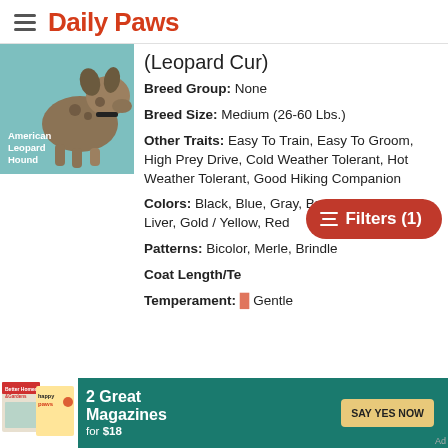Daily Paws
[Figure (photo): American Leopard Hound dog photo on teal background with label 'American Leopard Hound']
(Leopard Cur)
Breed Group: None
Breed Size: Medium (26-60 Lbs.)
Other Traits: Easy To Train, Easy To Groom, High Prey Drive, Cold Weather Tolerant, Hot Weather Tolerant, Good Hiking Companion
Colors: Black, Blue, Gray, Brown / Chocolate / Liver, Gold / Yellow, Red
Patterns: Bicolor, Merle, Brindle
Coat Length/Te
Temperament: Gentle
[Figure (screenshot): Advertisement banner: Better Homes & Gardens and Happy Paws magazines - 2 Great Magazines for $18 - SAY YES NOW button]